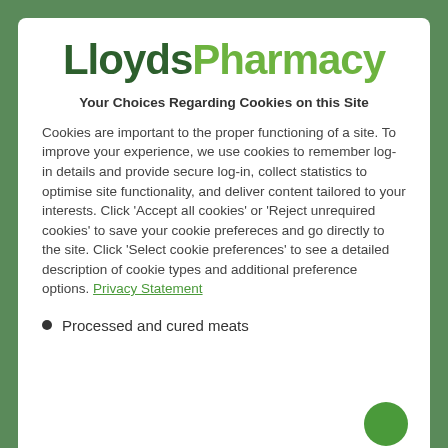[Figure (logo): LloydsPharmacy logo with 'Lloyds' in dark green and 'Pharmacy' in light green]
Your Choices Regarding Cookies on this Site
Cookies are important to the proper functioning of a site. To improve your experience, we use cookies to remember log-in details and provide secure log-in, collect statistics to optimise site functionality, and deliver content tailored to your interests. Click 'Accept all cookies' or 'Reject unrequired cookies' to save your cookie prefereces and go directly to the site. Click 'Select cookie preferences' to see a detailed description of cookie types and additional preference options. Privacy Statement
Processed and cured meats